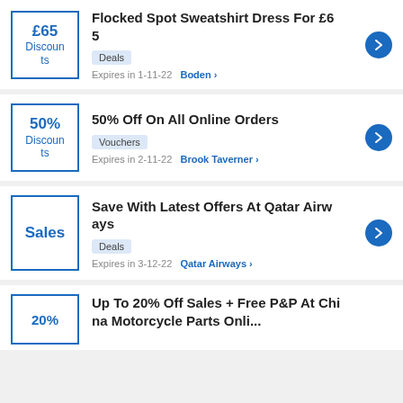Flocked Spot Sweatshirt Dress For £65 | £65 Discounts | Deals | Expires in 1-11-22 | Boden
50% Off On All Online Orders | 50% Discounts | Vouchers | Expires in 2-11-22 | Brook Taverner
Save With Latest Offers At Qatar Airways | Sales | Deals | Expires in 3-12-22 | Qatar Airways
Up To 20% Off Sales + Free P&P At Chi... (partial)